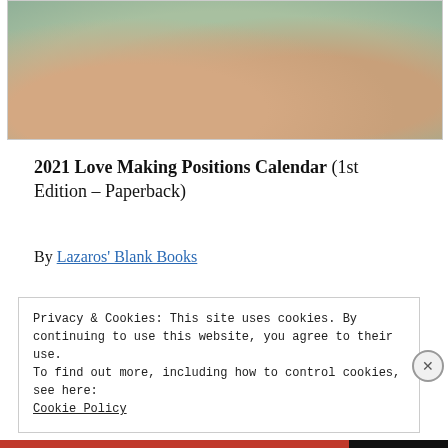[Figure (photo): Two hands with pinky fingers linked, one with anchor tattoos on fingers and a gold ring, blurred teal/green background]
2021 Love Making Positions Calendar (1st Edition – Paperback)
By Lazaros' Blank Books
Privacy & Cookies: This site uses cookies. By continuing to use this website, you agree to their use.
To find out more, including how to control cookies, see here:
Cookie Policy
Close and accept